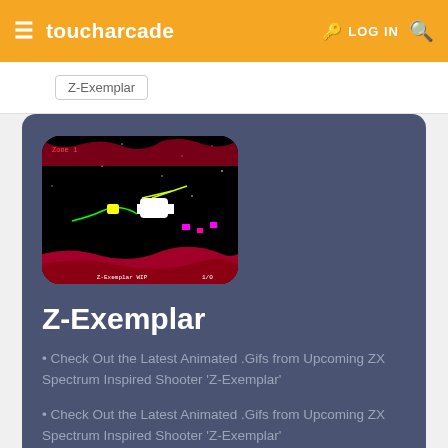toucharcade  LOG IN
Z-Exemplar
[Figure (screenshot): Z-Exemplar game screenshot showing a top-down space shooter with ZX Spectrum inspired graphics on black background]
Z-Exemplar
• Check Out the Latest Animated .Gifs from Upcoming ZX Spectrum Inspired Shooter 'Z-Exemplar'
• Check Out the Latest Animated .Gifs from Upcoming ZX Spectrum Inspired Shooter 'Z-Exemplar'